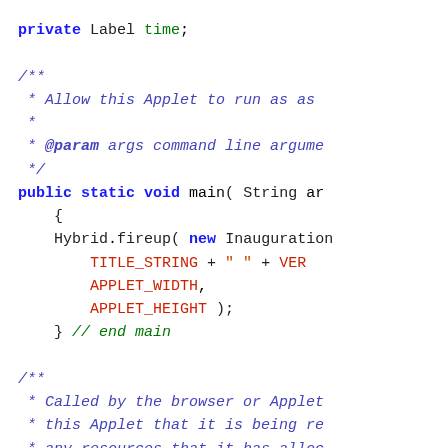private Label time;
/**
 * Allow this Applet to run as as
 *
 * @param args command line argume
 */
public static void main( String ar
    {
    Hybrid.fireup( new Inauguration
        TITLE_STRING + " " + VER
        APPLET_WIDTH,
        APPLET_HEIGHT );
    } // end main
/**
 * Called by the browser or Applet
 * this Applet that it is being re
 * any resources that it has alloc
 */